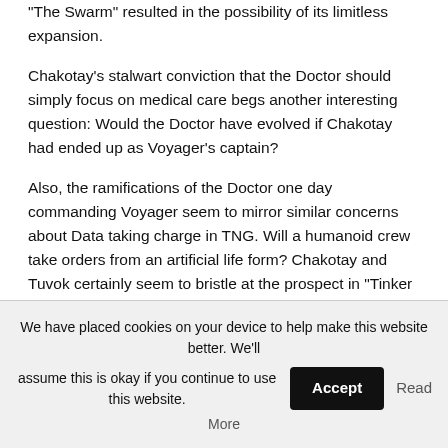"The Swarm" resulted in the possibility of its limitless expansion.
Chakotay's stalwart conviction that the Doctor should simply focus on medical care begs another interesting question: Would the Doctor have evolved if Chakotay had ended up as Voyager's captain?
Also, the ramifications of the Doctor one day commanding Voyager seem to mirror similar concerns about Data taking charge in TNG. Will a humanoid crew take orders from an artificial life form? Chakotay and Tuvok certainly seem to bristle at the prospect in "Tinker Tenor Doctor Spy." It wasn't a problem for Data with his Enterprise-D mates in "The Hunted," but aboard the
We have placed cookies on your device to help make this website better. We'll assume this is okay if you continue to use this website. Accept Read More